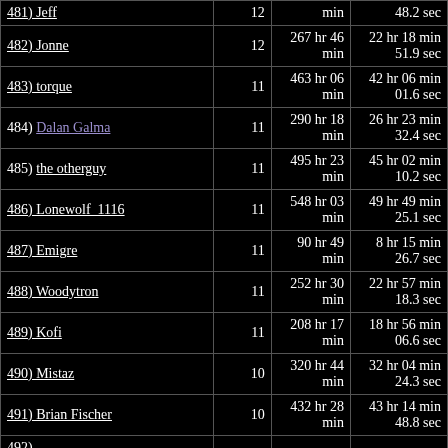| Name | Count | Total Time | Average Time |
| --- | --- | --- | --- |
| 481) Jeff | 12 | ... min | 48.2 sec |
| 482) Jonne | 12 | 267 hr 46 min | 22 hr 18 min 51.9 sec |
| 483) torque | 11 | 463 hr 06 min | 42 hr 06 min 01.6 sec |
| 484) Dalan Galma | 11 | 290 hr 18 min | 26 hr 23 min 32.4 sec |
| 485) the otherguy | 11 | 495 hr 23 min | 45 hr 02 min 10.2 sec |
| 486) Lonewolf_1116 | 11 | 548 hr 03 min | 49 hr 49 min 25.1 sec |
| 487) Emigre | 11 | 90 hr 49 min | 8 hr 15 min 26.7 sec |
| 488) Woodytron | 11 | 252 hr 30 min | 22 hr 57 min 18.3 sec |
| 489) Kofi | 11 | 208 hr 17 min | 18 hr 56 min 06.6 sec |
| 490) Mistaz | 10 | 320 hr 44 min | 32 hr 04 min 24.3 sec |
| 491) Brian Fischer | 10 | 432 hr 28 min | 43 hr 14 min 48.8 sec |
| 492) ... | 10 | ... hr ... min | ... hr ... min ... |